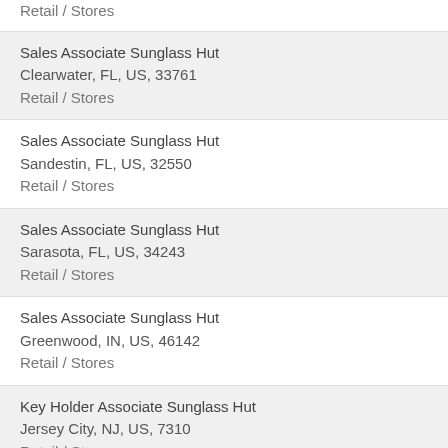Retail / Stores
Sales Associate Sunglass Hut
Clearwater, FL, US, 33761
Retail / Stores
Sales Associate Sunglass Hut
Sandestin, FL, US, 32550
Retail / Stores
Sales Associate Sunglass Hut
Sarasota, FL, US, 34243
Retail / Stores
Sales Associate Sunglass Hut
Greenwood, IN, US, 46142
Retail / Stores
Key Holder Associate Sunglass Hut
Jersey City, NJ, US, 7310
Retail / Stores
Sales Associate Sunglass Hut